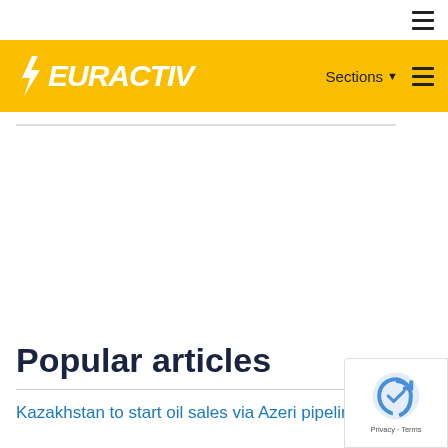≡ (hamburger menu icon)
[Figure (logo): EURACTIV logo in white italic bold font on yellow background navigation bar with Sections dropdown and hamburger menu]
Popular articles
Kazakhstan to start oil sales via Azeri pipeline to